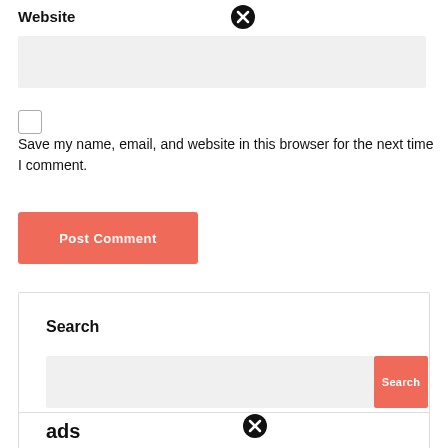Website
[Figure (screenshot): Close/X icon circle at top]
[Figure (screenshot): Website text input field (light gray background)]
[Figure (screenshot): Unchecked checkbox]
Save my name, email, and website in this browser for the next time I comment.
[Figure (screenshot): Post Comment button (salmon/coral color)]
[Figure (screenshot): Search widget box with search input and Search button]
Search
[Figure (screenshot): Up arrow button (coral/salmon color)]
[Figure (screenshot): Bottom partial section with close icon and ads text]